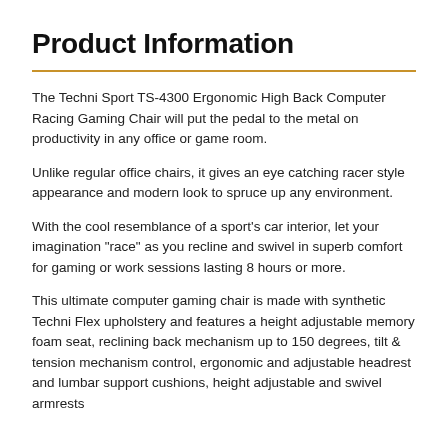Product Information
The Techni Sport TS-4300 Ergonomic High Back Computer Racing Gaming Chair will put the pedal to the metal on productivity in any office or game room.
Unlike regular office chairs, it gives an eye catching racer style appearance and modern look to spruce up any environment.
With the cool resemblance of a sport's car interior, let your imagination "race" as you recline and swivel in superb comfort for gaming or work sessions lasting 8 hours or more.
This ultimate computer gaming chair is made with synthetic Techni Flex upholstery and features a height adjustable memory foam seat, reclining back mechanism up to 150 degrees, tilt & tension mechanism control, ergonomic and adjustable headrest and lumbar support cushions, height adjustable and swivel armrests